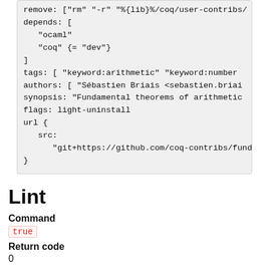remove: ["rm" "-r" "%{lib}%/coq/user-contribs/"
depends: [
  "ocaml"
  "coq" {= "dev"}
]
tags: [ "keyword:arithmetic" "keyword:number
author: [ "Sébastien Briais <sebastien.briai
synopsis: "Fundamental theorems of arithmetic
flags: light-uninstall
url {
  src:
    "git+https://github.com/coq-contribs/fund
}
Lint
Command
true
Return code
0